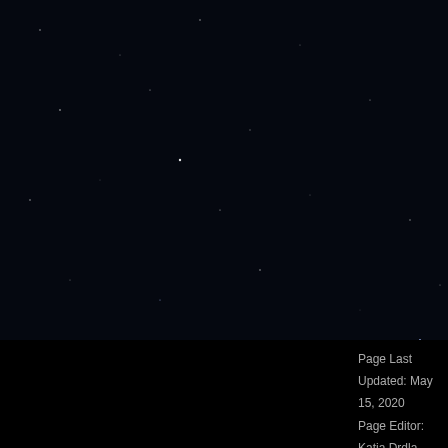[Figure (photo): Dark starfield background image on left side of page]
Heim, E. W., et al. (2020), A... pollutants during transport to...
Saide Peralta, et al. (2020), ... Chinese haze event measur... 2020.
Lamb, K., et al. (2018), Esti... Effect Observed Over South...
Nault, B., et al. (2018), Seco... budget over Seoul, South Ko... 17769-2018.
Segal-Rozenhaimer, M., et a... MERRA-2 and Airborne Obs... 6565-6580, doi:10.1029/201...
Smith, W., et al. (2017), Arc... the Critical Seasonal Ice Tra...
Beyersdorf, A., et al. (2016),... variability in the Baltimore–W... 2016.
Note: Only publications that have b...
Page Last Updated: May 15, 2020
Page Editor: Katja Drdla
NASA Official: Marilyn Vasques